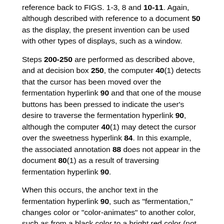reference back to FIGS. 1-3, 8 and 10-11. Again, although described with reference to a document 50 as the display, the present invention can be used with other types of displays, such as a window.
Steps 200-250 are performed as described above, and at decision box 250, the computer 40(1) detects that the cursor has been moved over the fermentation hyperlink 90 and that one of the mouse buttons has been pressed to indicate the user's desire to traverse the fermentation hyperlink 90, although the computer 40(1) may detect the cursor over the sweetness hyperlink 84. In this example, the associated annotation 88 does not appear in the document 80(1) as a result of traversing fermentation hyperlink 90.
When this occurs, the anchor text in the fermentation hyperlink 90, such as "fermentation," changes color or "color-animates" to another color, such as from a black color to a bright red color (not illustrated) to provide the user with departure feedback until the new traversed page is displayed (not illustrated), although other techniques and colors may be used to provide departure feedback, such as a colored background highlight surrounding the